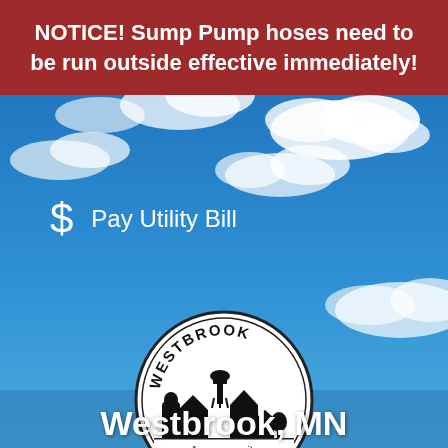NOTICE! Sump Pump hoses need to be run outside effective immediately!
[Figure (photo): Blue sky with white clouds background image for Westbrook, MN city page]
$ Pay Utility Bill
[Figure (logo): Westbrook city logo: circular seal with silhouette of town buildings and water tower, text reading WESTBROOK and A community for Life!]
Westbrook, MN